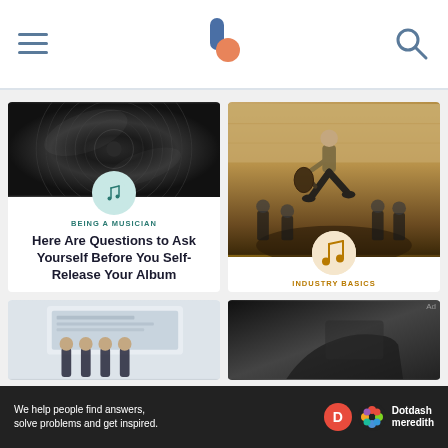Musician site header with hamburger menu, logo, and search icon
[Figure (screenshot): Card: vinyl record close-up with music note icon; category BEING A MUSICIAN; title: Here Are Questions to Ask Yourself Before You Self-Release Your Album]
[Figure (screenshot): Card: guitarist jumping in a conference room with music note icon; category INDUSTRY BASICS; title: Good and Bad Deals in the Music Industry]
[Figure (screenshot): Partial card bottom left: people in front of laptop screen]
[Figure (screenshot): Partial card bottom right: dark image]
We help people find answers, solve problems and get inspired. Dotdash meredith